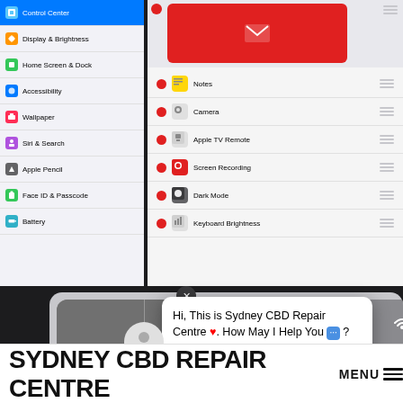[Figure (screenshot): iOS Settings app screenshot showing Control Center highlighted in blue, with items: Display & Brightness, Home Screen & Dock, Accessibility, Wallpaper, Siri & Search, Apple Pencil, Face ID & Passcode, Battery. Right panel shows Control Center customization list with Mail, Notes, Camera, Apple TV Remote, Screen Recording, Dark Mode, Keyboard Brightness. Bottom shows iOS Control Center UI with connectivity buttons and a media player. A live chat overlay from Sydney CBD Repair Centre is visible.]
Hi, This is Sydney CBD Repair Centre ❤️. How May I Help You 💬 ?
Customer Support Team  1 minute ago
SYDNEY CBD REPAIR CENTRE
MENU ≡